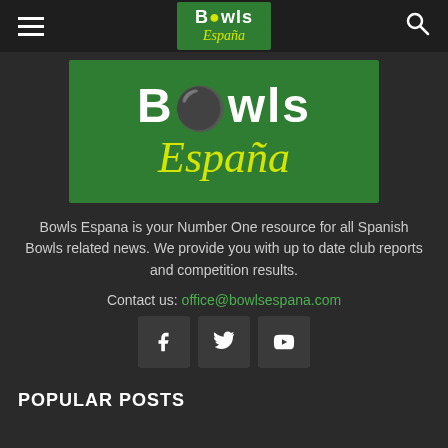Bowls España (header navigation bar)
[Figure (logo): Bowls España logo — green background with 'Bowls' in white bold text and 'España' in yellow italic script, large banner version]
Bowls Espana is your Number One resource for all Spanish Bowls related news. We provide you with up to date club reports and competition results.
Contact us: office@bowlsespana.com
[Figure (infographic): Three social media icon buttons: Facebook (f), Twitter (bird), YouTube (play button)]
POPULAR POSTS